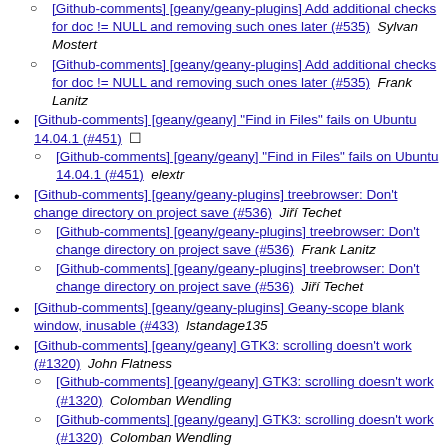[Github-comments] [geany/geany-plugins] Add additional checks for doc != NULL and removing such ones later (#535)  Sylvan Mostert
[Github-comments] [geany/geany-plugins] Add additional checks for doc != NULL and removing such ones later (#535)  Frank Lanitz
[Github-comments] [geany/geany] "Find in Files" fails on Ubuntu 14.04.1 (#451)
[Github-comments] [geany/geany] "Find in Files" fails on Ubuntu 14.04.1 (#451)  elextr
[Github-comments] [geany/geany-plugins] treebrowser: Don't change directory on project save (#536)  Jiří Techet
[Github-comments] [geany/geany-plugins] treebrowser: Don't change directory on project save (#536)  Frank Lanitz
[Github-comments] [geany/geany-plugins] treebrowser: Don't change directory on project save (#536)  Jiří Techet
[Github-comments] [geany/geany-plugins] Geany-scope blank window, inusable (#433)  lstandage135
[Github-comments] [geany/geany] GTK3: scrolling doesn't work (#1320)  John Flatness
[Github-comments] [geany/geany] GTK3: scrolling doesn't work (#1320)  Colomban Wendling
[Github-comments] [geany/geany] GTK3: scrolling doesn't work (#1320)  Colomban Wendling